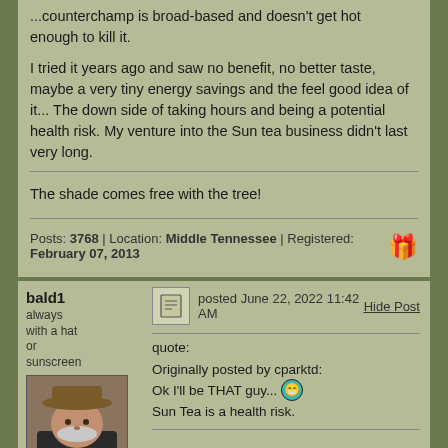...counterchamp is broad-based and doesn't get hot enough to kill it.
I tried it years ago and saw no benefit, no better taste, maybe a very tiny energy savings and the feel good idea of it... The down side of taking hours and being a potential health risk. My venture into the Sun tea business didn't last very long.
The shade comes free with the tree!
Posts: 3768 | Location: Middle Tennessee | Registered: February 07, 2013
bald1
always with a hat or sunscreen
posted June 22, 2022 11:42 AM
Hide Post
quote:
Originally posted by cparktd:
Ok I'll be THAT guy...
Sun Tea is a health risk.
Interesting. Cold brew it is then!
https://foodhero.com/blogs/how-to-make-sun-tea
Certifiable member of the gun toting, contrappasion...